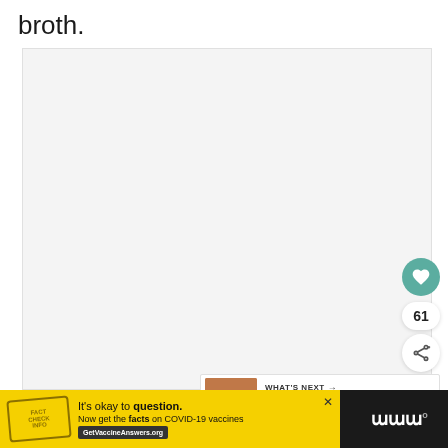broth.
[Figure (photo): Large light-gray image placeholder area for a recipe photo]
[Figure (other): Heart/like button (teal circle with heart icon), count badge showing 61, and share button]
[Figure (other): WHAT'S NEXT panel with food photo and text 'Super Simple Tomato Whit...']
[Figure (other): Advertisement banner: yellow background, stamp graphic, text 'It's okay to question. Now get the facts on COVID-19 vaccines GetVaccineAnswers.org', close button, Meredith logo]